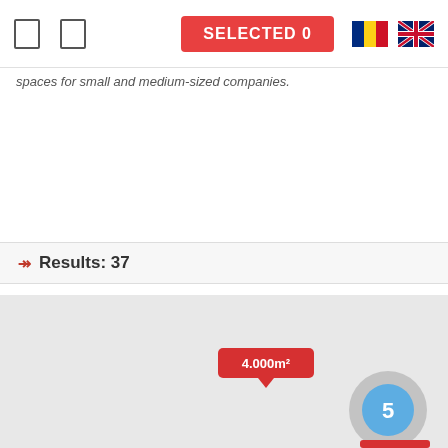SELECTED 0
spaces for small and medium-sized companies.
Results: 37
[Figure (map): Interactive map view showing property locations. A cluster marker with number '5' and a callout label showing '4.000m²' are visible in the lower portion of the map.]